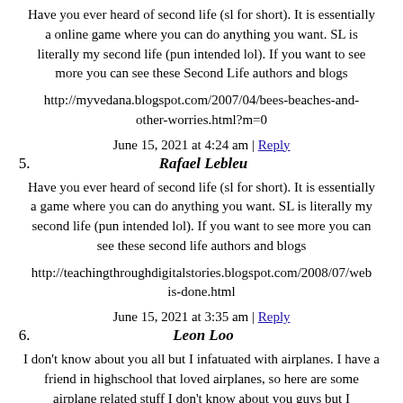Have you ever heard of second life (sl for short). It is essentially a online game where you can do anything you want. SL is literally my second life (pun intended lol). If you want to see more you can see these Second Life authors and blogs
http://myvedana.blogspot.com/2007/04/bees-beaches-and-other-worries.html?m=0
June 15, 2021 at 4:24 am | Reply
5. Rafael Lebleu
Have you ever heard of second life (sl for short). It is essentially a game where you can do anything you want. SL is literally my second life (pun intended lol). If you want to see more you can see these second life authors and blogs
http://teachingthroughdigitalstories.blogspot.com/2008/07/web... is-done.html
June 15, 2021 at 3:35 am | Reply
6. Leon Loo
I don't know about you all but I infatuated with airplanes. I have a friend in highschool that loved airplanes, so here are some airplane related stuff I don't know about you guys but I